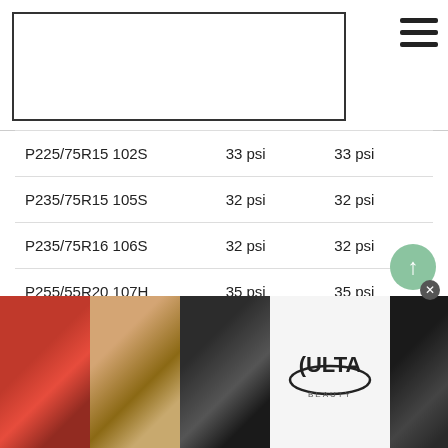| P225/75R15 102S | 33 psi | 33 psi |
| P235/75R15 105S | 32 psi | 32 psi |
| P235/75R16 106S | 32 psi | 32 psi |
| P255/55R20 107H | 35 psi | 35 psi |
| P265/65R18 112S | 33 psi | 33 psi |
| P265/70R17 113S | 32 - 33 psi | 32 - 33 psi |
| P265/75R15 112S | 30 psi | 30 psi |
[Figure (photo): ULTA Beauty advertisement banner with makeup images (lips, brush, eyes) and SHOP NOW call-to-action]